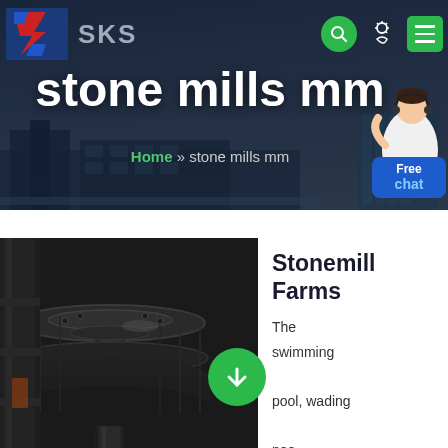[Figure (screenshot): SKS website header banner with logo, navigation icons (search, theme toggle, menu), large title 'stone mills mm', breadcrumb navigation, building background, and customer service agent with Free chat button]
stone mills mm
Home » stone mills mm
[Figure (photo): Close-up photograph of industrial stone mill machinery showing dark metal grinding components and cylindrical parts]
Stonemill Farms
The swimming pool, wading pool, splash pad